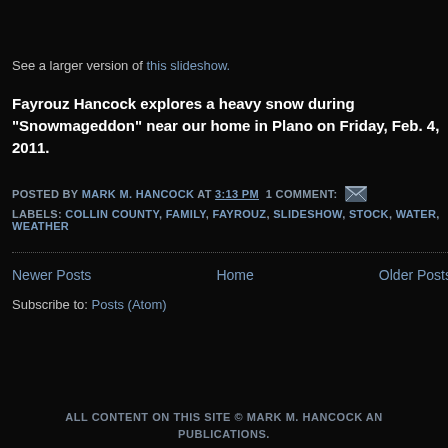See a larger version of this slideshow.
Fayrouz Hancock explores a heavy snow during "Snowmageddon" near our home in Plano on Friday, Feb. 4, 2011.
POSTED BY MARK M. HANCOCK AT 3:13 PM  1 COMMENT:
LABELS: COLLIN COUNTY, FAMILY, FAYROUZ, SLIDESHOW, STOCK, WATER, WEATHER
Newer Posts   Home   Older Posts
Subscribe to: Posts (Atom)
ALL CONTENT ON THIS SITE © MARK M. HANCOCK AND PUBLICATIONS.